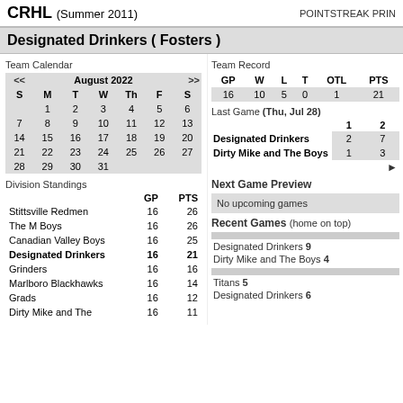CRHL (Summer 2011)   POINTSTREAK PRIN
Designated Drinkers ( Fosters )
Team Calendar
| << | August 2022 |  |  |  |  | >> | S | M | T | W | Th | F | S |
| --- | --- | --- | --- | --- | --- | --- | --- | --- | --- | --- | --- | --- | --- |
|  | 1 | 2 | 3 | 4 | 5 | 6 |
| 7 | 8 | 9 | 10 | 11 | 12 | 13 |
| 14 | 15 | 16 | 17 | 18 | 19 | 20 |
| 21 | 22 | 23 | 24 | 25 | 26 | 27 |
| 28 | 29 | 30 | 31 |  |  |  |
Division Standings
|  | GP | PTS |
| --- | --- | --- |
| Stittsville Redmen | 16 | 26 |
| The M Boys | 16 | 26 |
| Canadian Valley Boys | 16 | 25 |
| Designated Drinkers | 16 | 21 |
| Grinders | 16 | 16 |
| Marlboro Blackhawks | 16 | 14 |
| Grads | 16 | 12 |
| Dirty Mike and The | 16 | 11 |
Team Record
| GP | W | L | T | OTL | PTS |
| --- | --- | --- | --- | --- | --- |
| 16 | 10 | 5 | 0 | 1 | 21 |
Last Game (Thu, Jul 28)
|  | 1 | 2 |
| --- | --- | --- |
| Designated Drinkers | 2 | 7 |
| Dirty Mike and The Boys | 1 | 3 |
Next Game Preview
No upcoming games
Recent Games (home on top)
Designated Drinkers 9
Dirty Mike and The Boys 4
Titans 5
Designated Drinkers 6